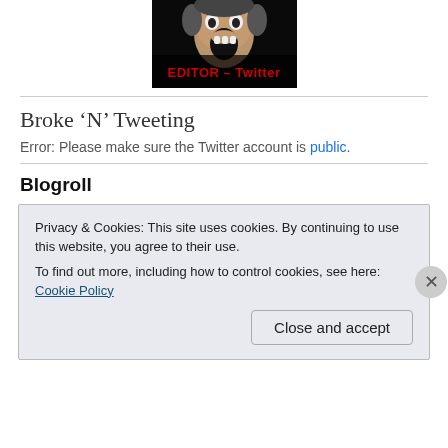[Figure (photo): Dark image of a screaming face/bear with red text overlay reading 'EDITOR - Twitter']
Broke ‘N’ Tweeting
Error: Please make sure the Twitter account is public.
Blogroll
Privacy & Cookies: This site uses cookies. By continuing to use this website, you agree to their use.
To find out more, including how to control cookies, see here: Cookie Policy
Close and accept